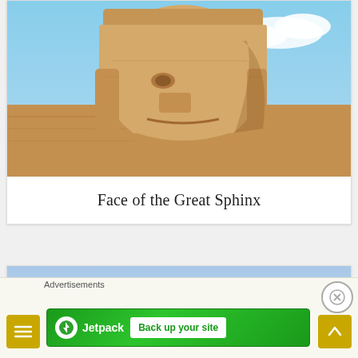[Figure (photo): Close-up photo of the face of the Great Sphinx of Giza against a blue sky with clouds]
Face of the Great Sphinx
[Figure (photo): Partially visible photo showing blue sky, bottom portion of another image card]
Advertisements
[Figure (logo): Jetpack advertisement banner with green background, Jetpack logo and icon, and 'Back up your site' button]